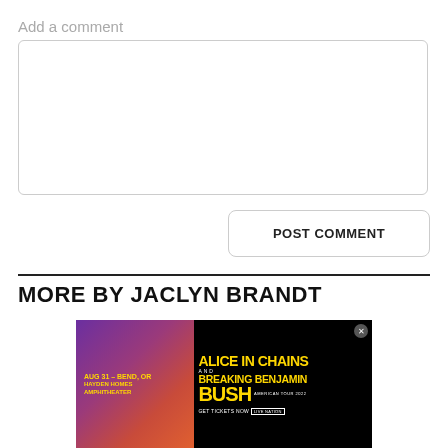Add a comment
[Figure (screenshot): Empty comment text area input box with rounded corners and light gray border]
[Figure (screenshot): POST COMMENT button with rounded corners and light gray border]
MORE BY JACLYN BRANDT
[Figure (infographic): Concert advertisement banner for Alice in Chains and Breaking Benjamin Bush American Tour 2022, Aug 31 - Bend, OR, Hayden Homes Amphitheater. Get Tickets Now via Live Nation.]